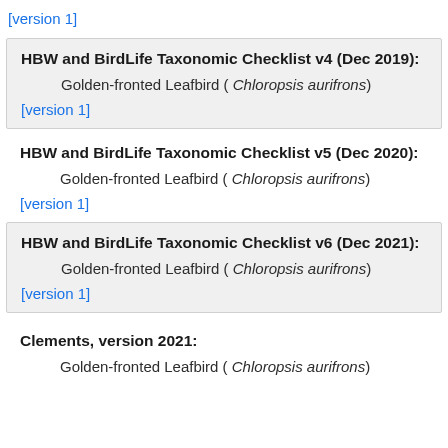[version 1]
HBW and BirdLife Taxonomic Checklist v4 (Dec 2019):
Golden-fronted Leafbird ( Chloropsis aurifrons)
[version 1]
HBW and BirdLife Taxonomic Checklist v5 (Dec 2020):
Golden-fronted Leafbird ( Chloropsis aurifrons)
[version 1]
HBW and BirdLife Taxonomic Checklist v6 (Dec 2021):
Golden-fronted Leafbird ( Chloropsis aurifrons)
[version 1]
Clements, version 2021:
Golden-fronted Leafbird ( Chloropsis aurifrons)